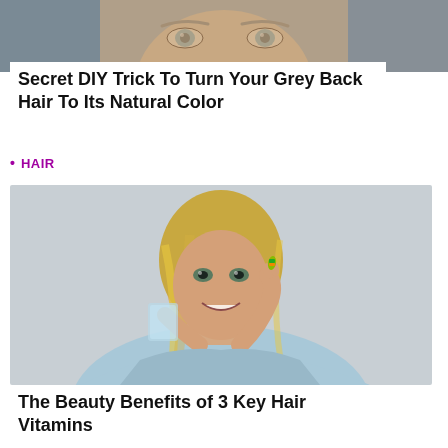[Figure (photo): Cropped photo of a person's face focusing on the eyes, grey-haired, top portion only visible]
Secret DIY Trick To Turn Your Grey Back Hair To Its Natural Color
HAIR
[Figure (photo): A smiling blonde woman holding a pill between two fingers and a glass of water in her other hand, wearing a light blue outfit]
The Beauty Benefits of 3 Key Hair Vitamins